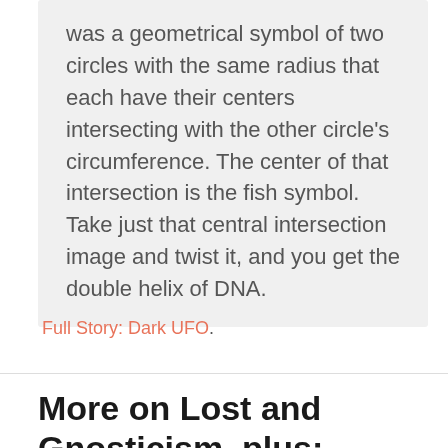was a geometrical symbol of two circles with the same radius that each have their centers intersecting with the other circle's circumference. The center of that intersection is the fish symbol. Take just that central intersection image and twist it, and you get the double helix of DNA.
Full Story: Dark UFO.
More on Lost and Gnosticism, plus: Shambala